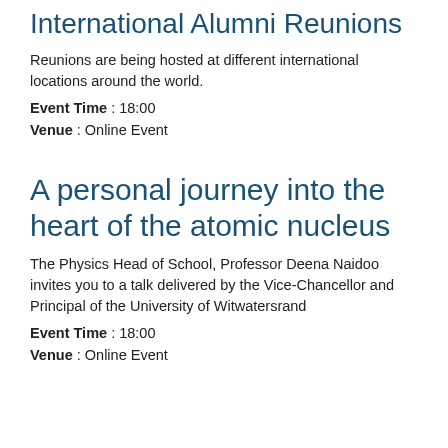International Alumni Reunions
Reunions are being hosted at different international locations around the world.
Event Time : 18:00
Venue : Online Event
A personal journey into the heart of the atomic nucleus
The Physics Head of School, Professor Deena Naidoo invites you to a talk delivered by the Vice-Chancellor and Principal of the University of Witwatersrand
Event Time : 18:00
Venue : Online Event